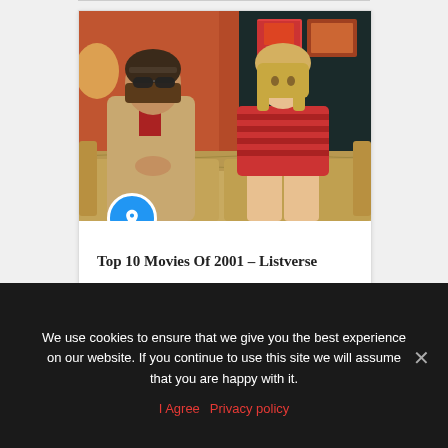[Figure (photo): A man and woman sitting on a floral sofa. The man has dark hair, beard, and sunglasses, wearing a tan suit. The woman has blonde hair wearing a red striped polo dress. Red/orange wall background with decorative art behind them.]
Top 10 Movies Of 2001 – Listverse
16/02/2021
We use cookies to ensure that we give you the best experience on our website. If you continue to use this site we will assume that you are happy with it.
I Agree   Privacy policy